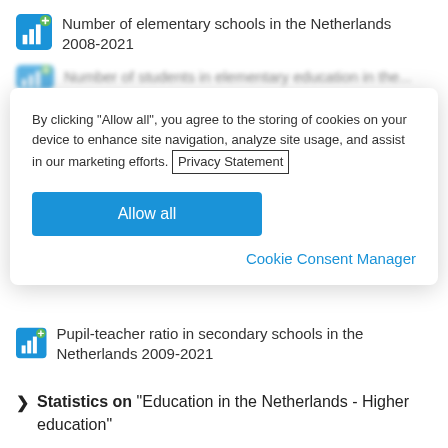Number of elementary schools in the Netherlands 2008-2021
Number of students in elementary education in the Netherlands
By clicking “Allow all”, you agree to the storing of cookies on your device to enhance site navigation, analyze site usage, and assist in our marketing efforts. Privacy Statement
Allow all
Cookie Consent Manager
Pupil-teacher ratio in secondary schools in the Netherlands 2009-2021
Statistics on “Education in the Netherlands - Higher education”